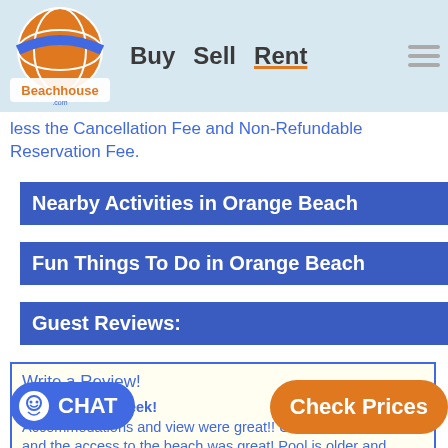Beachhouse.com — Buy   Sell   Rent
less the Cancellation Fee and Non-Refundable Reservation Fee.
Nearby Activities in Orange Beach
Fun Things To Do in Orange Beach
Guest Reviews:
Write a Review!
"Great family week!
Accommodations and view were great!! Unit was stocked well and the access to the beach was great! Pool is older and small but was not a problem for us. ... the actual unit were beauti... were ... mildewed. Overall we would stay here again next week!"